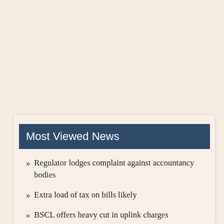Most Viewed News
Regulator lodges complaint against accountancy bodies
Extra load of tax on bills likely
BSCL offers heavy cut in uplink charges
18th anniversary of Aug 21 grenade attack